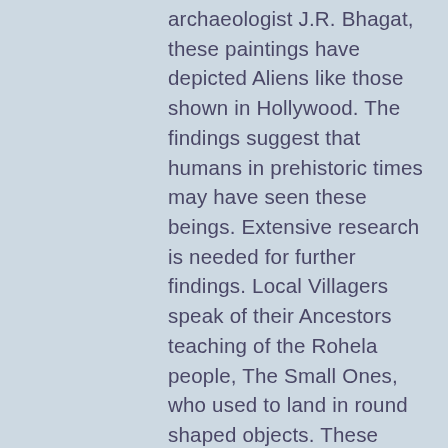archaeologist J.R. Bhagat, these paintings have depicted Aliens like those shown in Hollywood. The findings suggest that humans in prehistoric times may have seen these beings. Extensive research is needed for further findings. Local Villagers speak of their Ancestors teaching of the Rohela people, The Small Ones, who used to land in round shaped objects. These beings would also take Villagers away. Never to return again. Local Testimonies are very important in these findings. The State Departments Plans to Seek Nasas and Isros Help, show that the Alien and UFO topic is going mainstream. People are now Wanting Real Answers, not some made up, cover up Story.